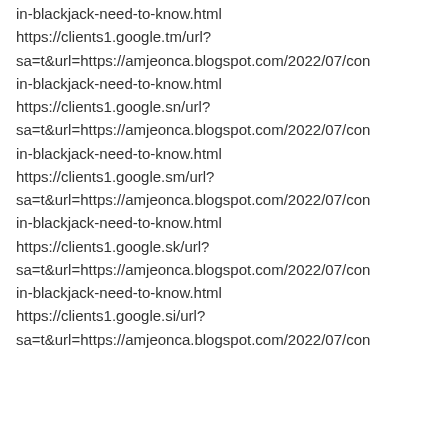in-blackjack-need-to-know.html
https://clients1.google.tm/url?sa=t&url=https://amjeonca.blogspot.com/2022/07/con in-blackjack-need-to-know.html
https://clients1.google.sn/url?sa=t&url=https://amjeonca.blogspot.com/2022/07/con in-blackjack-need-to-know.html
https://clients1.google.sm/url?sa=t&url=https://amjeonca.blogspot.com/2022/07/con in-blackjack-need-to-know.html
https://clients1.google.sk/url?sa=t&url=https://amjeonca.blogspot.com/2022/07/con in-blackjack-need-to-know.html
https://clients1.google.si/url?sa=t&url=https://amjeonca.blogspot.com/2022/07/con